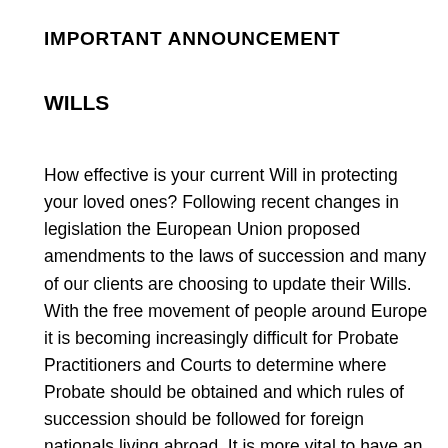IMPORTANT ANNOUNCEMENT
WILLS
How effective is your current Will in protecting your loved ones? Following recent changes in legislation the European Union proposed amendments to the laws of succession and many of our clients are choosing to update their Wills. With the free movement of people around Europe it is becoming increasingly difficult for Probate Practitioners and Courts to determine where Probate should be obtained and which rules of succession should be followed for foreign nationals living abroad. It is more vital to have an effective Will...